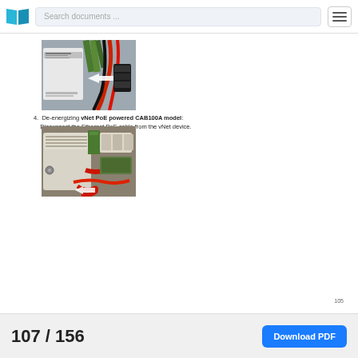Search documents ...
[Figure (photo): Photo of electronic control module with red and black wiring and green grounding wires, with a white arrow pointing left]
4.  De-energizing vNet PoE powered CAB100A model:
Disconnect the Ethernet PoE cable from the vNet device.
[Figure (photo): Photo of electronic CAB100A device with red wiring and connectors mounted on a surface, with a white arrow pointing]
105
107 / 156